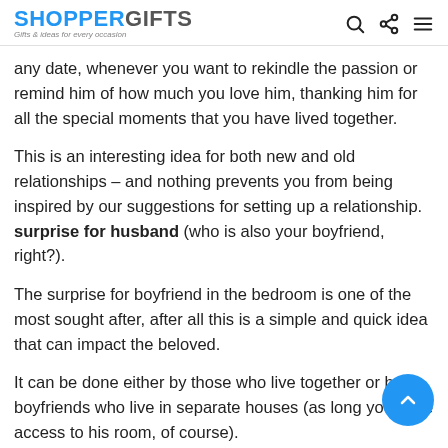SHOPPERGIFTS – Gifts & ideas for every occasion
any date, whenever you want to rekindle the passion or remind him of how much you love him, thanking him for all the special moments that you have lived together.
This is an interesting idea for both new and old relationships – and nothing prevents you from being inspired by our suggestions for setting up a relationship. surprise for husband (who is also your boyfriend, right?).
The surprise for boyfriend in the bedroom is one of the most sought after, after all this is a simple and quick idea that can impact the beloved.
It can be done either by those who live together or by boyfriends who live in separate houses (as long you have access to his room, of course).